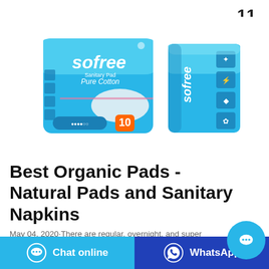11
[Figure (photo): Two Sofree Sanitary Pad Pure Cotton product packages — one front view and one side/back view — on white background]
Best Organic Pads - Natural Pads and Sanitary Napkins
May 04, 2020·There are regular, overnight, and super winged options plus a wingless regular maxi pad and panty liners. 9. Organyc. These pads are made of 100